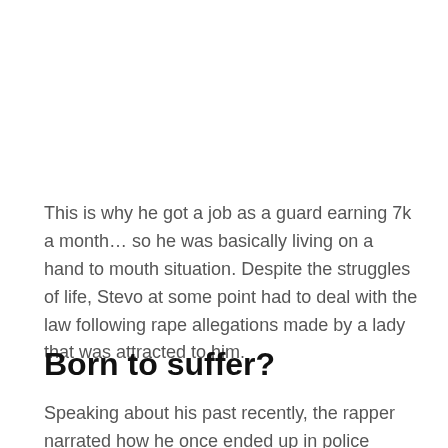This is why he got a job as a guard earning 7k a month… so he was basically living on a hand to mouth situation. Despite the struggles of life, Stevo at some point had to deal with the law following rape allegations made by a lady that was attracted to him.
Born to suffer?
Speaking about his past recently, the rapper narrated how he once ended up in police custody….simply because he